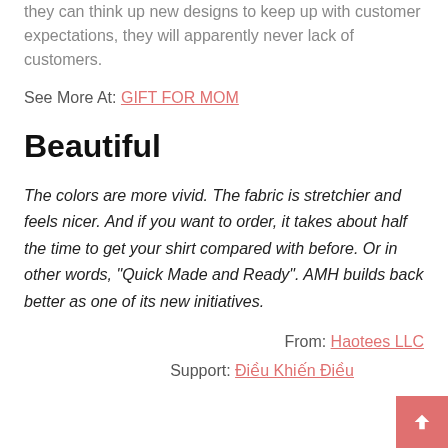they can think up new designs to keep up with customer expectations, they will apparently never lack of customers.
See More At: GIFT FOR MOM
Beautiful
The colors are more vivid. The fabric is stretchier and feels nicer. And if you want to order, it takes about half the time to get your shirt compared with before. Or in other words, "Quick Made and Ready". AMH builds back better as one of its new initiatives.
From: Haotees LLC
Support: Điều Khiến Điều